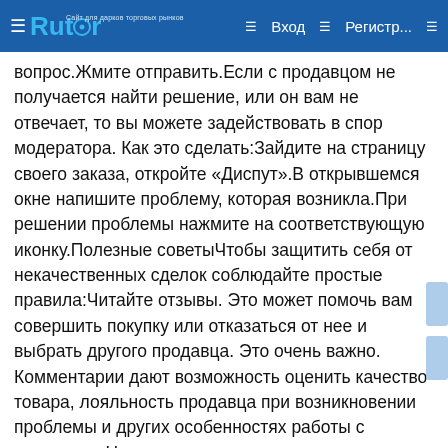Rutor — Вход  Регистр...
вопрос.Жмите отправить.Если с продавцом не получается найти решение, или он вам не отвечает, то вы можете задействовать в спор модератора. Как это сделать:Зайдите на страницу своего заказа, откройте «Диспут».В открывшемся окне напишите проблему, которая возникла.При решении проблемы нажмите на соответствующую иконку.Полезные советыЧтобы защитить себя от некачественных сделок соблюдайте простые правила:Читайте отзывы. Это может помочь вам совершить покупку или отказаться от нее и выбрать другого продавца. Это очень важно. Комментарии дают возможность оценить качество товара, лояльность продавца при возникновении проблемы и других особенностях работы с магазином.Нажимать подтверждение покупки лишь после того, как будет проверено ее качество. Если вы подтвердили покупку, и нужно после этого хотите по какой-то причине вернуть средства, то этого делать никто не будет.Отзывы пишите после покупки. Это отличный критерий для других пользователей.Рекомендуется при регистрации указывать